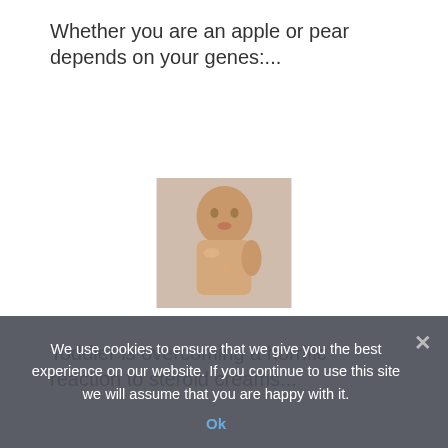Whether you are an apple or pear depends on your genes:...
[Figure (photo): Thumbnail photo of a baby sitting, appearing to have a skin reaction]
Toddler is overcoming a horrific reaction to steroid creams...
[Figure (photo): Thumbnail photo of a woman in a white t-shirt taking a selfie]
We use cookies to ensure that we give you the best experience on our website. If you continue to use this site we will assume that you are happy with it.
Ok